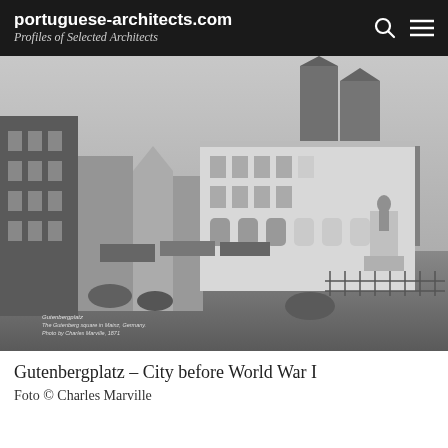portuguese-architects.com — Profiles of Selected Architects
[Figure (photo): Black and white historical photograph of Gutenbergplatz square in Mainz, Germany, showing 19th century buildings, a statue on a pedestal, horse-drawn carriages, market stalls with awnings, and Gothic cathedral towers in the background. Photo by Charles Marville, 1871.]
Gutenbergplatz – City before World War I
Foto © Charles Marville